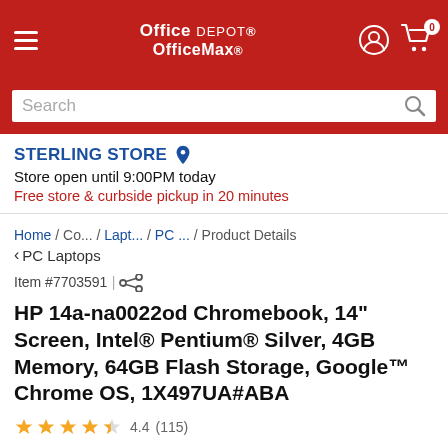[Figure (screenshot): Office Depot OfficeMax mobile website header with red background, hamburger menu, logo, user icon, and cart icon showing 0 items]
[Figure (screenshot): Search bar with placeholder text 'Search' and magnifying glass icon on red background]
STERLING STORE
Store open until 9:00PM today
Free store & curbside pickup in 20 minutes
Home / Co... / Lapt... / PC ... / Product Details
< PC Laptops
Item #7703591 |
HP 14a-na0022od Chromebook, 14" Screen, Intel® Pentium® Silver, 4GB Memory, 64GB Flash Storage, Google™ Chrome OS, 1X497UA#ABA
4.4 (115)